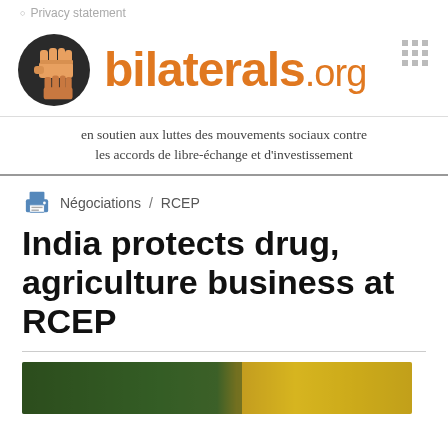Privacy statement
[Figure (logo): bilaterals.org logo with fist icon in dark circle and orange text reading 'bilaterals.org']
en soutien aux luttes des mouvements sociaux contre les accords de libre-échange et d'investissement
Négociations / RCEP
India protects drug, agriculture business at RCEP
[Figure (photo): Partial article header image showing dark green and yellow background]